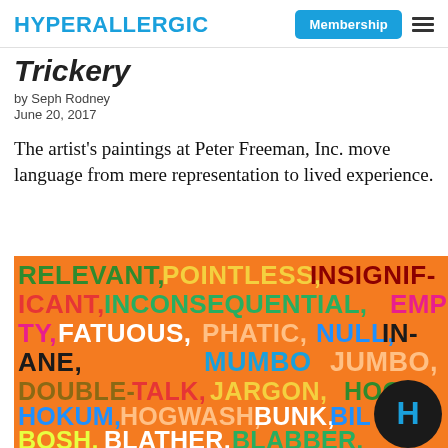HYPERALLERGIC | Membership
Trickery
by Seph Rodney
June 20, 2017
The artist's paintings at Peter Freeman, Inc. move language from mere representation to lived experience.
[Figure (photo): Colorful painting on orange background with words: RELEVANT, POINTLESS, INSIGNIFICANT, INCONSEQUENTIAL, EMPTY, FATUOUS, PHATIC, NULL, INANE, MUMBO JUMBO, DOUBLE-TALK, JARGON, HOOKUM, HOGWASH, BUNK, BILGE, BOSH, BLATHER, BLABBER, BALONEY, and more, in various colors including green, white, dark red, pink, blue, lime green, yellow. A circular Hyperallergic 'H' logo appears in bottom right.]